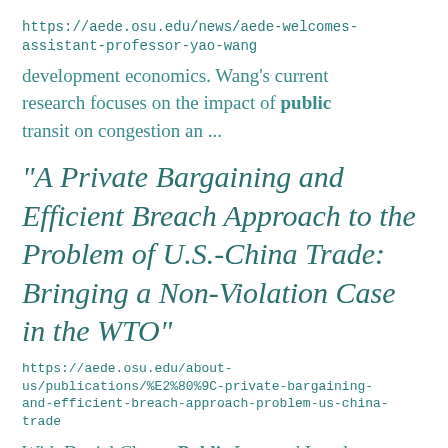https://aede.osu.edu/news/aede-welcomes-assistant-professor-yao-wang
development economics. Wang's current research focuses on the impact of public transit on congestion an ...
“A Private Bargaining and Efficient Breach Approach to the Problem of U.S.-China Trade: Bringing a Non-Violation Case in the WTO”
https://aede.osu.edu/about-us/publications/%E2%80%9C-private-bargaining-and-efficient-breach-approach-problem-us-china-trade
With Daniel Chow,  Public Law and Legal Theory Working Paper No.720, Moritz